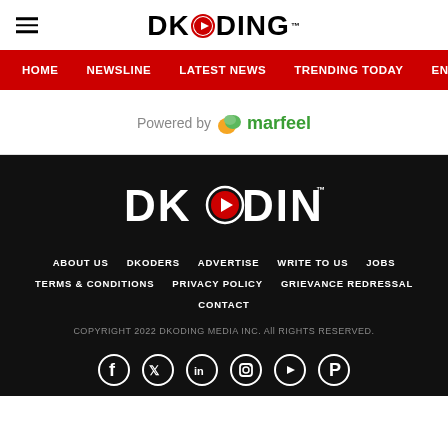DKODING
HOME  NEWSLINE  LATEST NEWS  TRENDING TODAY  ENT
[Figure (logo): Powered by marfeel logo]
[Figure (logo): DKODING logo white on black background]
ABOUT US  DKODERS  ADVERTISE  WRITE TO US  JOBS
TERMS & CONDITIONS  PRIVACY POLICY  GRIEVANCE REDRESSAL
CONTACT
COPYRIGHT 2022 DKODING MEDIA INC. All RIGHTS RESERVED.
[Figure (other): Social media icons: Facebook, Twitter, LinkedIn, Instagram, YouTube, Pinterest]